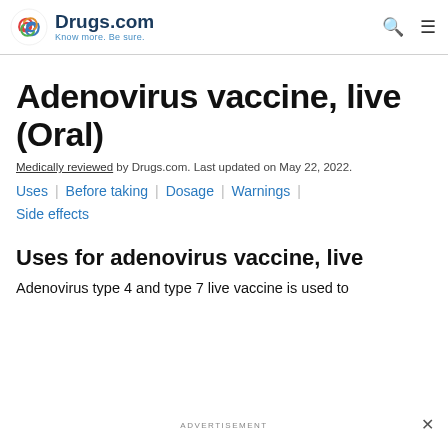Drugs.com — Know more. Be sure.
Adenovirus vaccine, live (Oral)
Medically reviewed by Drugs.com. Last updated on May 22, 2022.
Uses | Before taking | Dosage | Warnings | Side effects
Uses for adenovirus vaccine, live
Adenovirus type 4 and type 7 live vaccine is used to